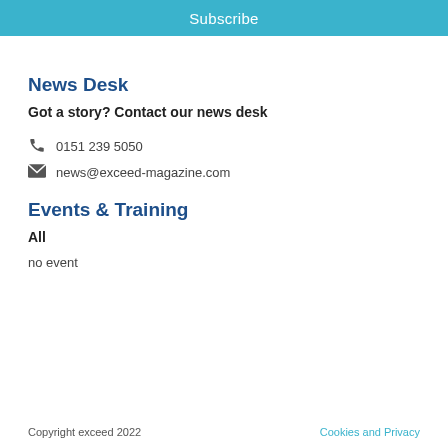Subscribe
News Desk
Got a story? Contact our news desk
0151 239 5050
news@exceed-magazine.com
Events & Training
All
no event
Copyright exceed 2022    Cookies and Privacy